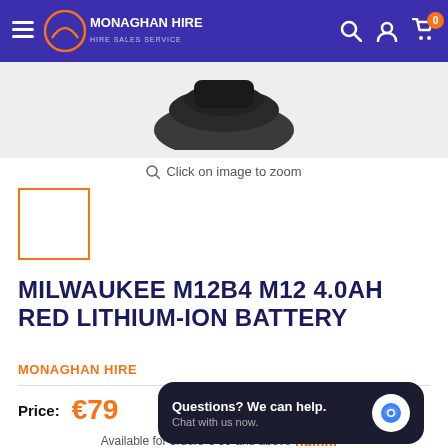MONAGHAN HIRE — Hire Sales Service
[Figure (photo): Product image of Milwaukee M12B4 battery, partially visible at top of page, dark background]
Click on image to zoom
[Figure (photo): Thumbnail image selector box with orange border, empty white box]
MILWAUKEE M12B4 M12 4.0AH RED LITHIUM-ION BATTERY
MONAGHAN HIRE
Price: €79
Questions? We can help. Chat with us now.
Available for orders € 80 and above humm